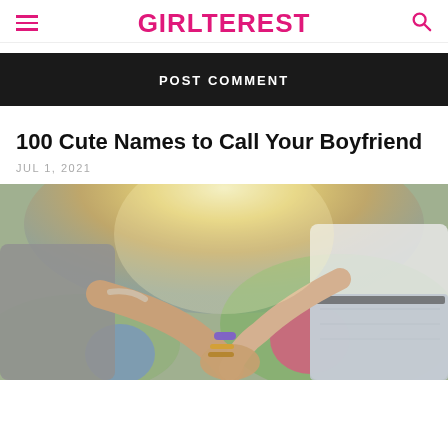GIRLTEREST
POST COMMENT
100 Cute Names to Call Your Boyfriend
JUL 1, 2021
[Figure (photo): A couple holding hands from behind, backlit by sunlight, at what appears to be an outdoor event. The woman wears bracelets and the man wears a grey shirt.]